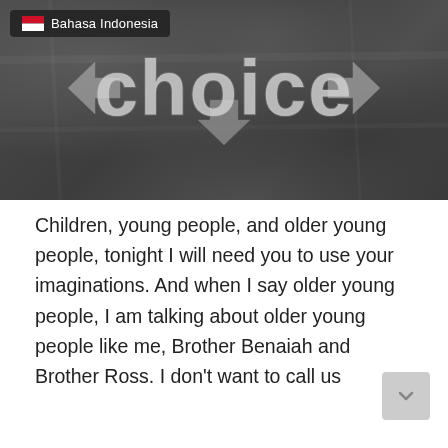[Figure (photo): Chalkboard image showing the word 'choice' in large chalk lettering with left, right, and down arrows. A language selector badge showing an Indonesian flag and 'Bahasa Indonesia' appears in the top-left corner.]
Children, young people, and older young people, tonight I will need you to use your imaginations.  And when I say older young people, I am talking about older young people like me, Brother Benaiah and Brother Ross.  I don't want to call us